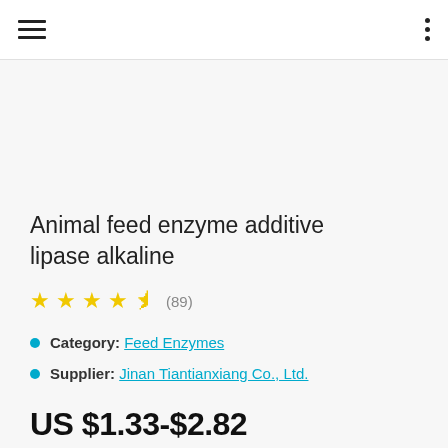Navigation bar with hamburger menu and options dots
Animal feed enzyme additive lipase alkaline
★★★★☆ (89)
Category: Feed Enzymes
Supplier: Jinan Tiantianxiang Co., Ltd.
US $1.33-$2.82